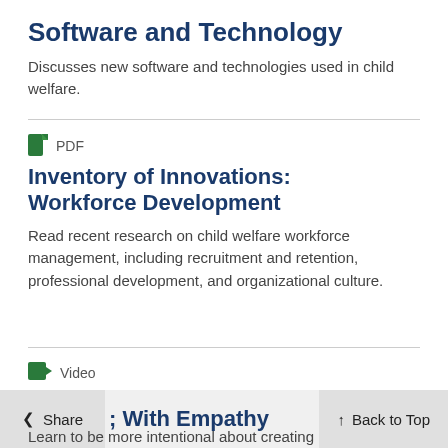Software and Technology
Discusses new software and technologies used in child welfare.
PDF
Inventory of Innovations: Workforce Development
Read recent research on child welfare workforce management, including recruitment and retention, professional development, and organizational culture.
Video
; With Empathy
Learn to be more intentional about creating